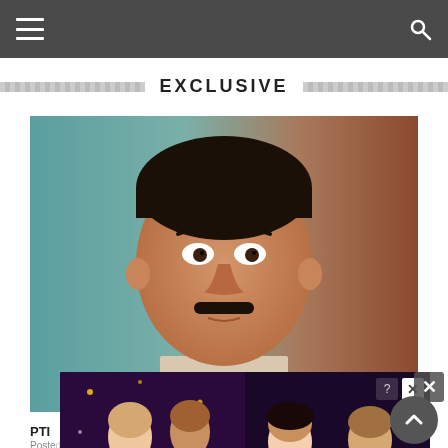Navigation bar with menu and search icons
EXCLUSIVE
[Figure (photo): Portrait photo of a South Asian man with a mustache, short dark hair, wearing a light-colored shirt, against a blurred teal and brown background]
PTI
Posted
Shau... of the Nati... posed
[Figure (screenshot): Advertisement overlay for 'Whispers' app/game showing illustrated romance story characters with colorful anime-style artwork. Has a close button (X) in the top right corner and an info button.]